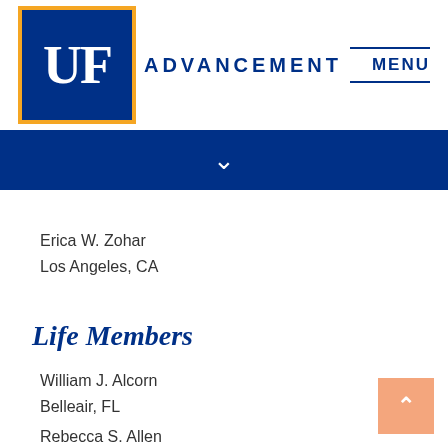UF ADVANCEMENT MENU
Erica W. Zohar
Los Angeles, CA
Life Members
William J. Alcorn
Belleair, FL
Rebecca S. Allen